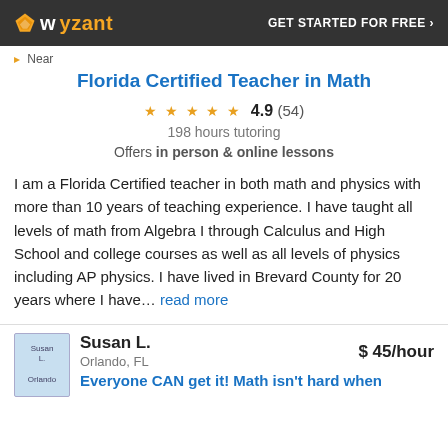wyzant  GET STARTED FOR FREE ›
Near
Florida Certified Teacher in Math
4.9 (54)
198 hours tutoring
Offers in person & online lessons
I am a Florida Certified teacher in both math and physics with more than 10 years of teaching experience. I have taught all levels of math from Algebra I through Calculus and High School and college courses as well as all levels of physics including AP physics. I have lived in Brevard County for 20 years where I have... read more
Susan L.  $ 45/hour  Orlando, FL  Everyone CAN get it! Math isn't hard when